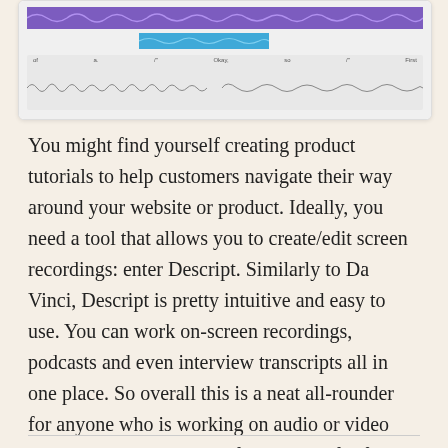[Figure (screenshot): Screenshot of Descript audio/video editing software interface showing waveform tracks with purple and blue colored audio bars and timeline labels.]
You might find yourself creating product tutorials to help customers navigate their way around your website or product. Ideally, you need a tool that allows you to create/edit screen recordings: enter Descript. Similarly to Da Vinci, Descript is pretty intuitive and easy to use. You can work on-screen recordings, podcasts and even interview transcripts all in one place. So overall this is a neat all-rounder for anyone who is working on audio or video editing. You get 2 hours of transcripts for free and then have to subscribe to a paid plan for more time.